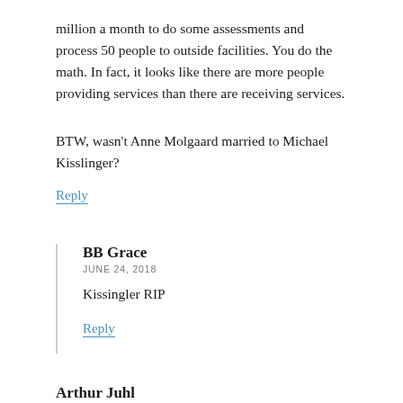million a month to do some assessments and process 50 people to outside facilities. You do the math. In fact, it looks like there are more people providing services than there are receiving services.
BTW, wasn't Anne Molgaard married to Michael Kisslinger?
Reply
BB Grace
JUNE 24, 2018
Kissingler RIP
Reply
Arthur Juhl
JUNE 24, 2018
For twenty five million ask some of the parents how their children were “treated” as I did. You will find that the parents considered Redwood a joke!